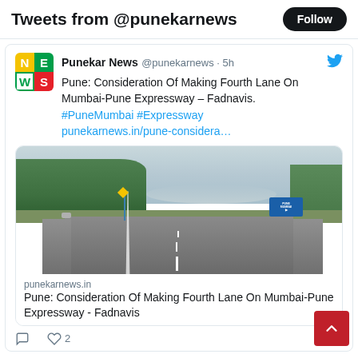Tweets from @punekarnews
Punekar News @punekarnews · 5h
Pune: Consideration Of Making Fourth Lane On Mumbai-Pune Expressway – Fadnavis.
#PuneMumbai #Expressway
punekarnews.in/pune-considera…
[Figure (photo): Photo of Mumbai-Pune Expressway showing a three-lane highway with trees on both sides, a directional sign board on the right, and mountains in the background.]
punekarnews.in
Pune: Consideration Of Making Fourth Lane On Mumbai-Pune Expressway - Fadnavis